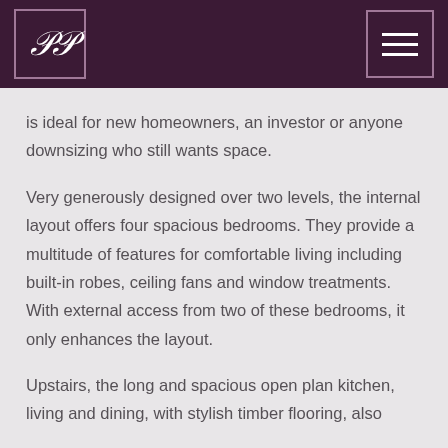PP logo and navigation menu
is ideal for new homeowners, an investor or anyone downsizing who still wants space.
Very generously designed over two levels, the internal layout offers four spacious bedrooms. They provide a multitude of features for comfortable living including built-in robes, ceiling fans and window treatments. With external access from two of these bedrooms, it only enhances the layout.
Upstairs, the long and spacious open plan kitchen, living and dining, with stylish timber flooring, also